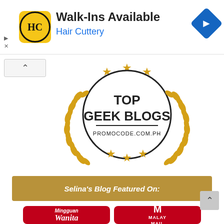[Figure (screenshot): Hair Cuttery advertisement banner with logo, 'Walk-Ins Available' headline, 'Hair Cuttery' subtext in blue, and blue navigation diamond icon]
Walk-Ins Available
Hair Cuttery
[Figure (logo): Top Geek Blogs badge from PROMOCODE.COM.PH with gold laurel wreath, stars, and circular border]
Selina's Blog Featured On:
[Figure (logo): Two publication logos at bottom: Mingguan Wanita and Malay Mail]